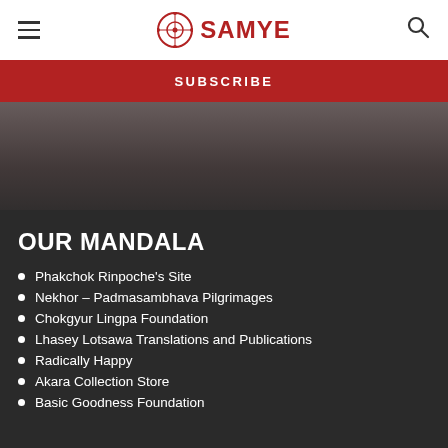SAMYE
SUBSCRIBE
[Figure (photo): Dark background image of what appears to be a Buddhist temple or shrine interior]
OUR MANDALA
Phakchok Rinpoche's Site
Nekhor – Padmasambhava Pilgrimages
Chokgyur Lingpa Foundation
Lhasey Lotsawa Translations and Publications
Radically Happy
Akara Collection Store
Basic Goodness Foundation